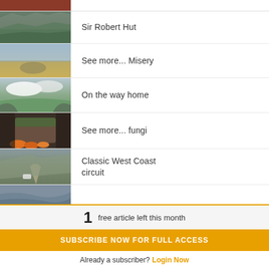[Figure (photo): Partial strip of autumn/orange foliage at top of page]
[Figure (photo): Mountain valley with rocky slopes and green valley floor]
Sir Robert Hut
[Figure (photo): Tarn or pond in golden grassland with clouds]
See more... Misery
[Figure (photo): Mountain valley with clouds and green meadow]
On the way home
[Figure (photo): Mossy tree stump with orange fungi at base]
See more... fungi
[Figure (photo): Mountain road with vehicle on gravel track, steep terrain]
Classic West Coast circuit
[Figure (photo): River or stream partially visible, bottom strip]
1 free article left this month
SUBSCRIBE NOW FOR FULL ACCESS
Already a subscriber? Login Now